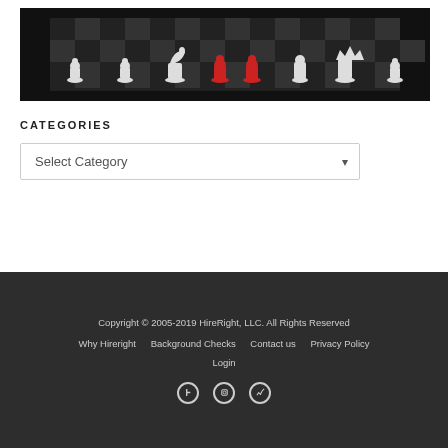[Figure (photo): Black and white chess pieces on a chessboard with two red pawns in the center]
CATEGORIES
Select Category (dropdown)
Copyright © 2005-2019 HireRight, LLC. All Rights Reserved
Why Hireright    Background Checks    Contact us    Privacy Policy
Login